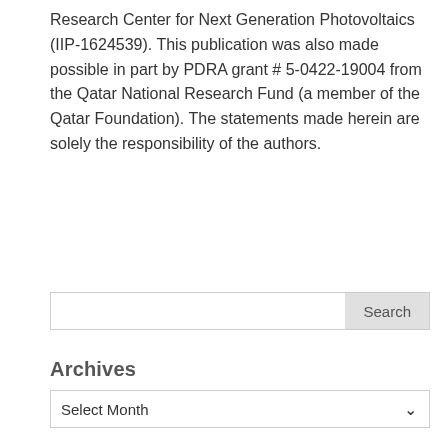Research Center for Next Generation Photovoltaics (IIP-1624539). This publication was also made possible in part by PDRA grant # 5-0422-19004 from the Qatar National Research Fund (a member of the Qatar Foundation). The statements made herein are solely the responsibility of the authors.
Search
Archives
Select Month